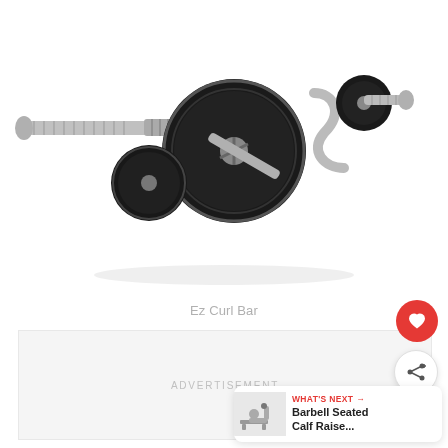[Figure (photo): Ez Curl Bar — chrome barbell with black weight plates loaded on a curl bar, photographed on white background]
Ez Curl Bar
ADVERTISEMENT
[Figure (other): Heart/like floating action button (red circle with white heart icon)]
[Figure (other): Share floating action button (white circle with share icon)]
[Figure (other): What's Next card: Barbell Seated Calf Raise...]